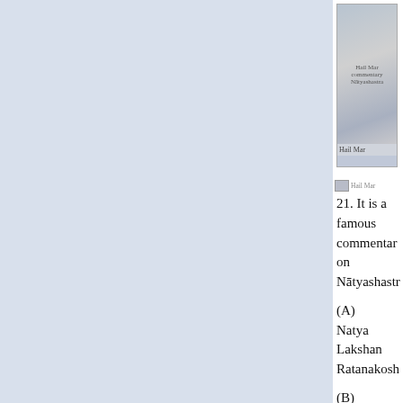[Figure (illustration): Book thumbnail/cover image with text overlay - Hail Mar]
Hail Mar
21. It is a famous commentary on Nātyashastra
(A) Natya Lakshan Ratanakosh
(B) Natya Manjari Suarabh
(C) Abhinav Bharati
(D)